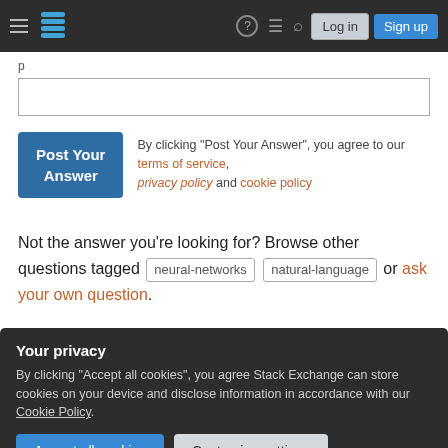Stack Exchange navigation bar with Log in and Sign up buttons
p
[textarea input box]
Post Your Answer  By clicking "Post Your Answer", you agree to our terms of service, privacy policy and cookie policy
Not the answer you're looking for? Browse other questions tagged neural-networks natural-language or ask your own question.
Your privacy
By clicking "Accept all cookies", you agree Stack Exchange can store cookies on your device and disclose information in accordance with our Cookie Policy.
Accept all cookies  Customize settings
Linked